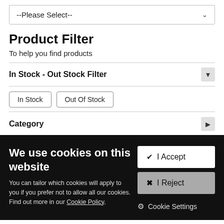--Please Select--
Product Filter
To help you find products
In Stock - Out Stock Filter
In Stock
Out Of Stock
Category
We use cookies on this website
You can tailor which cookies will apply to you if you prefer not to allow all our cookies. Find out more in our Cookie Policy.
✔ I Accept
✖ I Reject
⚙ Cookie Settings